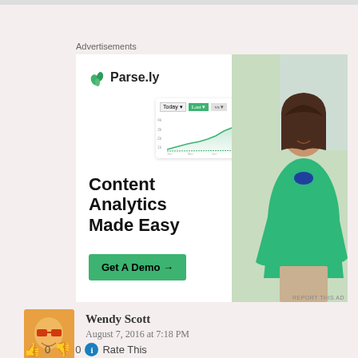Advertisements
[Figure (photo): Parse.ly advertisement banner showing 'Content Analytics Made Easy' with a Get A Demo button, a mini analytics chart, and a woman in a green sweater on the right side]
Wendy Scott
August 7, 2016 at 7:18 PM
👍 0 👎 0 ℹ Rate This